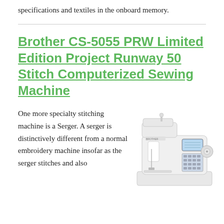specifications and textiles in the onboard memory.
Brother CS-5055 PRW Limited Edition Project Runway 50 Stitch Computerized Sewing Machine
One more specialty stitching machine is a Serger. A serger is distinctively different from a normal embroidery machine insofar as the serger stitches and also
[Figure (photo): Photo of a white Brother CS-5055 PRW computerized sewing machine, front-right angle view showing the LCD display panel and stitch selector buttons on the right side.]